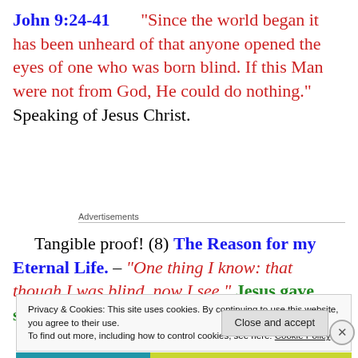John 9:24-41
“Since the world began it has been unheard of that anyone opened the eyes of one who was born blind. If this Man were not from God, He could do nothing.” Speaking of Jesus Christ.
Advertisements
Tangible proof! (8) The Reason for my Eternal Life. – “One thing I know: that though I was blind, now I see.” Jesus gave sight to a blind man.
Privacy & Cookies: This site uses cookies. By continuing to use this website, you agree to their use.
To find out more, including how to control cookies, see here: Cookie Policy
Close and accept